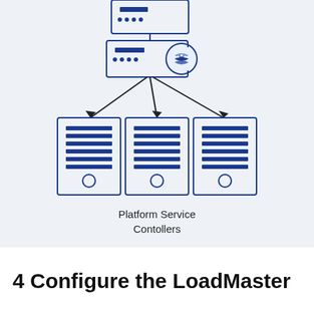[Figure (schematic): Network diagram showing a server/appliance at the top connected via three arrows pointing downward to three platform service controller server units. The top server has a circular badge icon (LoadMaster). Three arrows fan out from the top unit to the three lower units. The lower units are depicted as rack servers with horizontal line indicators and a circle at the bottom.]
Platform Service Contollers
4 Configure the LoadMaster